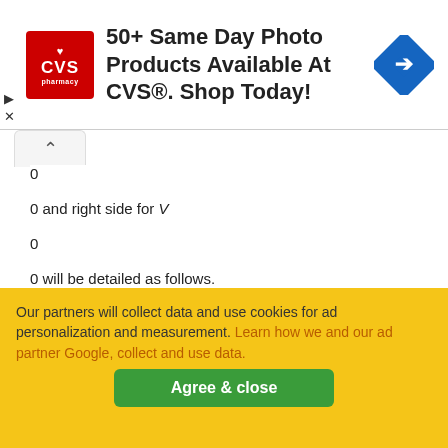[Figure (other): CVS Pharmacy advertisement banner: red CVS logo on left, bold text '50+ Same Day Photo Products Available At CVS®. Shop Today!' in center, blue diamond navigation icon on right. Small close/ad icons on far left.]
0
0 and right side for V
0
0 will be detailed as follows.
A. Case       In this case, all sequences are shown in Fig.6 while the waveforms are given in Fig.7. The details are as follows. Sequence 1n: in this sequence, the control signal of the H-bridge inverter allows to have    positive. The magnetizing current    increases. K2 and K3 conduct while    decreases and
Our partners will collect data and use cookies for ad personalization and measurement. Learn how we and our ad partner Google, collect and use data.
Agree & close